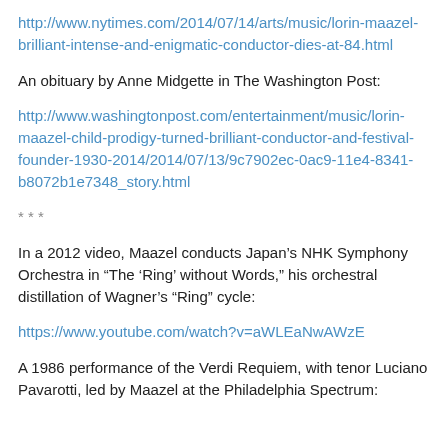http://www.nytimes.com/2014/07/14/arts/music/lorin-maazel-brilliant-intense-and-enigmatic-conductor-dies-at-84.html
An obituary by Anne Midgette in The Washington Post:
http://www.washingtonpost.com/entertainment/music/lorin-maazel-child-prodigy-turned-brilliant-conductor-and-festival-founder-1930-2014/2014/07/13/9c7902ec-0ac9-11e4-8341-b8072b1e7348_story.html
* * *
In a 2012 video, Maazel conducts Japan’s NHK Symphony Orchestra in “The ‘Ring’ without Words,” his orchestral distillation of Wagner’s “Ring” cycle:
https://www.youtube.com/watch?v=aWLEaNwAWzE
A 1986 performance of the Verdi Requiem, with tenor Luciano Pavarotti, led by Maazel at the Philadelphia Spectrum: